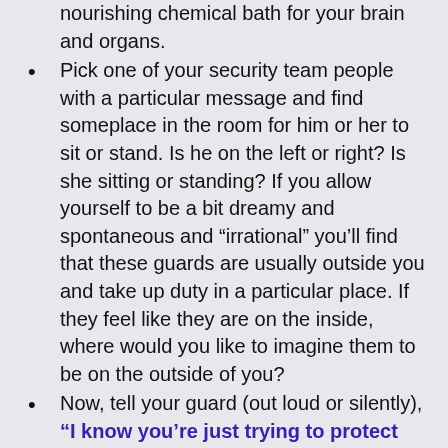nourishing chemical bath for your brain and organs.
Pick one of your security team people with a particular message and find someplace in the room for him or her to sit or stand. Is he on the left or right? Is she sitting or standing? If you allow yourself to be a bit dreamy and spontaneous and “irrational” you’ll find that these guards are usually outside you and take up duty in a particular place. If they feel like they are on the inside, where would you like to imagine them to be on the outside of you?
Now, tell your guard (out loud or silently), “I know you’re just trying to protect me. Thank you.”
Just that, just say thanks. No figuring out or analyzing. Just a recognition of the ways that